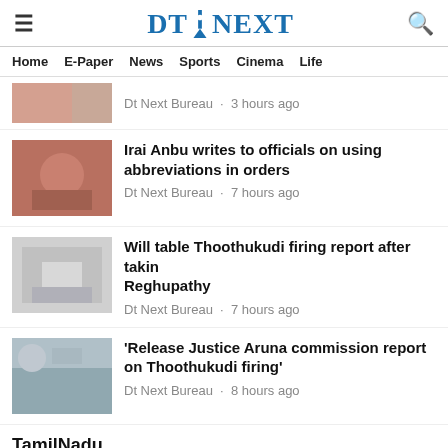DT NEXT
Home  E-Paper  News  Sports  Cinema  Life
Dt Next Bureau · 3 hours ago
Irai Anbu writes to officials on using abbreviations in orders
Dt Next Bureau · 7 hours ago
Will table Thoothukudi firing report after taking... Reghupathy
Dt Next Bureau · 7 hours ago
'Release Justice Aruna commission report on Thoothukudi firing'
Dt Next Bureau · 8 hours ago
TamilNadu